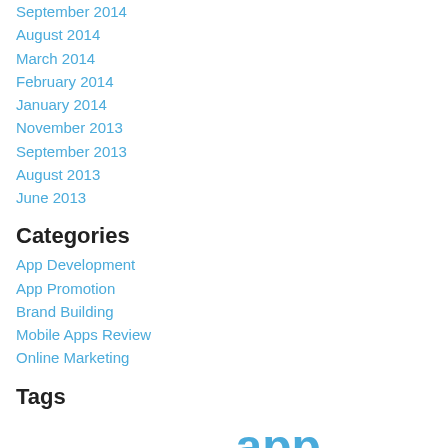September 2014
August 2014
March 2014
February 2014
January 2014
November 2013
September 2013
August 2013
June 2013
Categories
App Development
App Promotion
Brand Building
Mobile Apps Review
Online Marketing
Tags
Android 手機應用 APP app developer app developer hk app development app